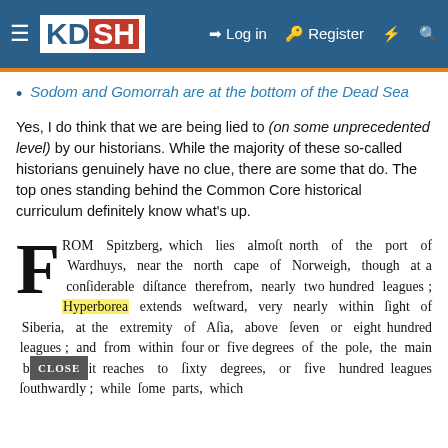KDSH | Log in | Register
Sodom and Gomorrah are at the bottom of the Dead Sea
Yes, I do think that we are being lied to (on some unprecedented level) by our historians. While the majority of these so-called historians genuinely have no clue, there are some that do. The top ones standing behind the Common Core historical curriculum definitely know what's up.
FROM Spitzberg, which lies almost north of the port of Wardhuys, near the north cape of Norweigh, though at a considerable distance therefrom, nearly two hundred leagues; Hyperborea extends westward, very nearly within sight of Siberia, at the extremity of Asia, above seven or eight hundred leagues; and from within four or five degrees of the pole, the main body of it reaches to sixty degrees, or five hundred leagues southwardly; while some parts, which